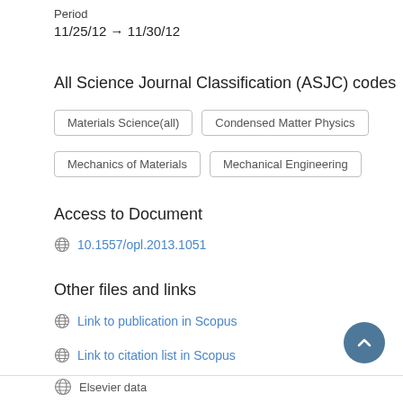Period
11/25/12 → 11/30/12
All Science Journal Classification (ASJC) codes
Materials Science(all)
Condensed Matter Physics
Mechanics of Materials
Mechanical Engineering
Access to Document
10.1557/opl.2013.1051
Other files and links
Link to publication in Scopus
Link to citation list in Scopus